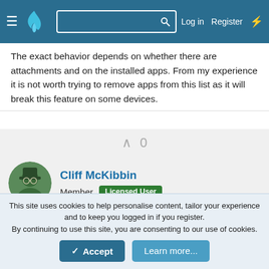Log in  Register
The exact behavior depends on whether there are attachments and on the installed apps. From my experience it is not worth trying to remove apps from this list as it will break this feature on some devices.
Cliff McKibbin
Member  Licensed User
Apr 10, 2022  #3
Erel, Thanks for the update. I'll leave it alone.
Thanks for B4A 11.50. It works great and is definitely faster
This site uses cookies to help personalise content, tailor your experience and to keep you logged in if you register.
By continuing to use this site, you are consenting to our use of cookies.